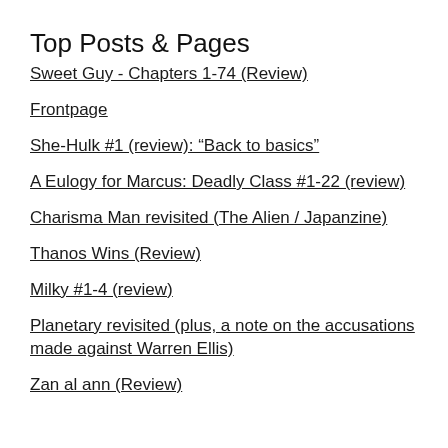Top Posts & Pages
Sweet Guy - Chapters 1-74 (Review)
Frontpage
She-Hulk #1 (review): “Back to basics”
A Eulogy for Marcus: Deadly Class #1-22 (review)
Charisma Man revisited (The Alien / Japanzine)
Thanos Wins (Review)
Milky #1-4 (review)
Planetary revisited (plus, a note on the accusations made against Warren Ellis)
Zan al ann (Review)